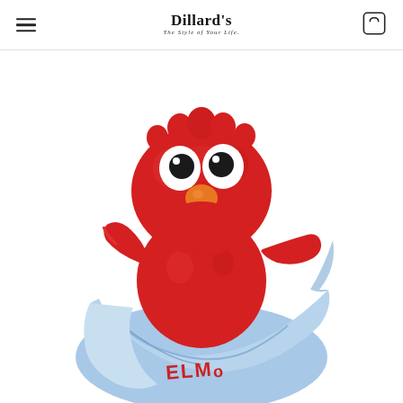Dillard's — The Style of Your Life.
[Figure (photo): Elmo plush stuffed animal from Sesame Street holding a light blue satin blanket with 'ELMO' embroidered in red letters. The toy is red and fuzzy with white googly eyes, a black mouth, and an orange nose. White background.]